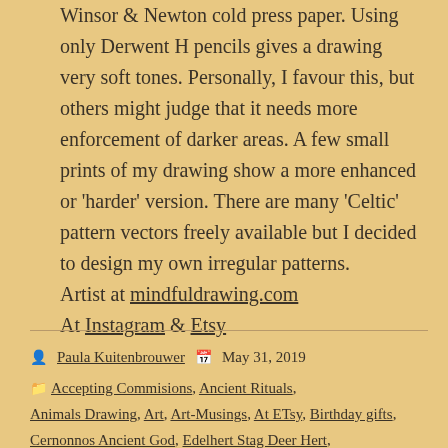Winsor & Newton cold press paper. Using only Derwent H pencils gives a drawing very soft tones. Personally, I favour this, but others might judge that it needs more enforcement of darker areas. A few small prints of my drawing show a more enhanced or 'harder' version. There are many 'Celtic' pattern vectors freely available but I decided to design my own irregular patterns.
Artist at mindfuldrawing.com
At Instagram & Etsy
Paula Kuitenbrouwer   May 31, 2019   Accepting Commisions, Ancient Rituals, Animals Drawing, Art, Art-Musings, At ETsy, Birthday gifts, Cernonnos Ancient God, Edelhert Stag Deer Hert, Father's day, Freehand Drawing, Freehand sketching,